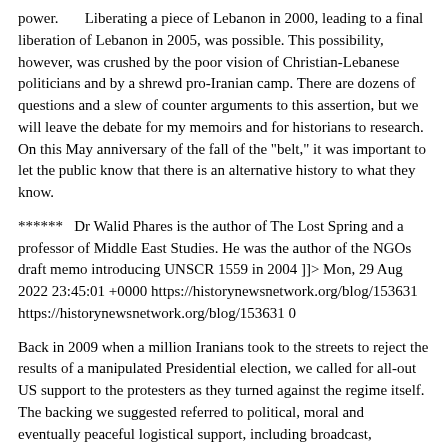power.      Liberating a piece of Lebanon in 2000, leading to a final liberation of Lebanon in 2005, was possible. This possibility, however, was crushed by the poor vision of Christian-Lebanese politicians and by a shrewd pro-Iranian camp. There are dozens of questions and a slew of counter arguments to this assertion, but we will leave the debate for my memoirs and for historians to research. On this May anniversary of the fall of the "belt," it was important to let the public know that there is an alternative history to what they know.
******   Dr Walid Phares is the author of The Lost Spring and a professor of Middle East Studies. He was the author of the NGOs draft memo introducing UNSCR 1559 in 2004 ]]> Mon, 29 Aug 2022 23:45:01 +0000 https://historynewsnetwork.org/blog/153631 https://historynewsnetwork.org/blog/153631 0
Back in 2009 when a million Iranians took to the streets to reject the results of a manipulated Presidential election, we called for all-out US support to the protesters as they turned against the regime itself. The backing we suggested referred to political, moral and eventually peaceful logistical support, including broadcast, communications, and similar media allowing the opposition to express itself inside and outside the country. The world has seen briefly then, thanks to Twitter and YouTube, gigantic marches across the capital—but also acts of repression, including the shootings of pro-protesters. Neda. These valiant but heroic, it the